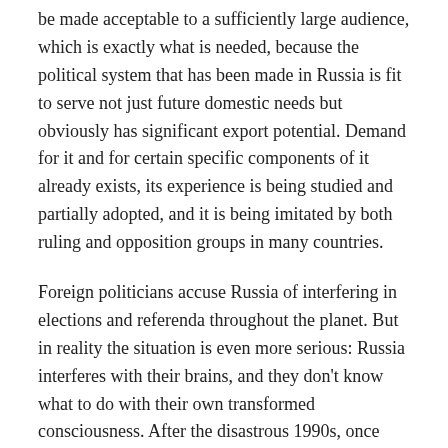be made acceptable to a sufficiently large audience, which is exactly what is needed, because the political system that has been made in Russia is fit to serve not just future domestic needs but obviously has significant export potential. Demand for it and for certain specific components of it already exists, its experience is being studied and partially adopted, and it is being imitated by both ruling and opposition groups in many countries.
Foreign politicians accuse Russia of interfering in elections and referenda throughout the planet. But in reality the situation is even more serious: Russia interferes with their brains, and they don't know what to do with their own transformed consciousness. After the disastrous 1990s, once Russia turned away from all borrowed ideologies, it started generating its own ideas and began to counterattack the West. Since then